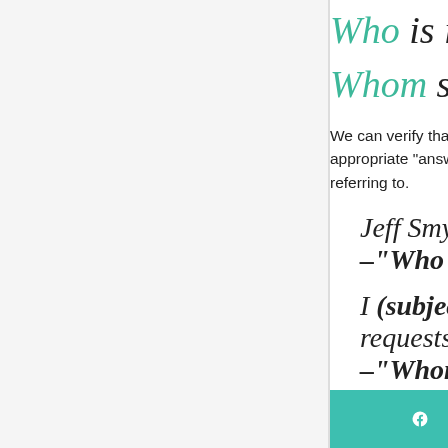Who is in c...
Whom sho...
We can verify that the co... appropriate "answers." T... referring to.
Jeff Smyth... –"Who" re...
I (subject)... requests a... –"Whom"...
As this video from Merria... referring to a sentence's...